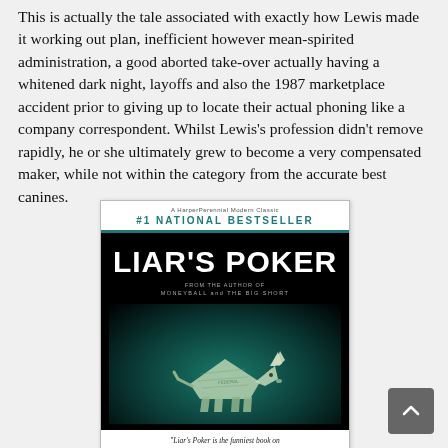This is actually the tale associated with exactly how Lewis made it working out plan, inefficient however mean-spirited administration, a good aborted take-over actually having a whitened dark night, layoffs and also the 1987 marketplace accident prior to giving up to locate their actual phoning like a company correspondent. Whilst Lewis's profession didn't remove rapidly, he or she ultimately grew to become a very compensated maker, while not within the category from the accurate best canines.
[Figure (photo): Book cover of 'Liar's Poker' — #1 National Bestseller, by the author of Moneyball and The Big Short. Dark cover with origami bull made of dollar bills on teal/dark background. Quote: 'Liar's Poker is the funniest book on Wall Street I've ever read.' —Tom Wolfe]